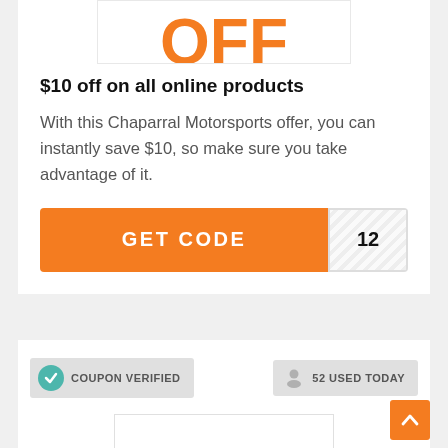[Figure (other): Orange 'OFF' text partially visible at top of coupon card]
$10 off on all online products
With this Chaparral Motorsports offer, you can instantly save $10, so make sure you take advantage of it.
[Figure (other): Orange GET CODE button with hatched white code reveal tag showing '12']
[Figure (other): COUPON VERIFIED badge with teal checkmark icon]
[Figure (other): 52 USED TODAY badge with person icon]
[Figure (other): Orange scroll-to-top button with upward arrow]
[Figure (other): Bottom coupon image stub partially visible]